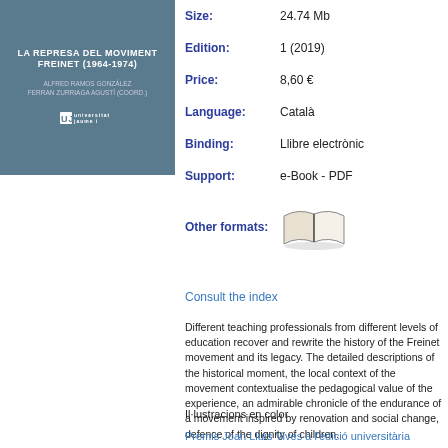[Figure (illustration): Book cover with blue-grey background showing title 'La Represa del Moviment Freinet (1964-1974)', authors Alfred Ramos González and Ferran Zurriaga Agustí (coord.), and UJI university logo]
Size: 24.74 Mb
Edition: 1 (2019)
Price: 8,60 €
Language: Català
Binding: Llibre electrònic
Support: e-Book - PDF
Other formats:
[Figure (illustration): Open book icon illustration]
Consult the index
Different teaching professionals from different levels of edu recover and rewrite the history of the Freinet movement an The detailed descriptions of the historical moment, the loca the movement contextualise the pedagogical value of the e an admirable chronicle of the endurance of a movement in renovation and social change, defence of the dignity of chi
Il·lustracions en color
Premis Joan Lluís Vives a l'edició universitària